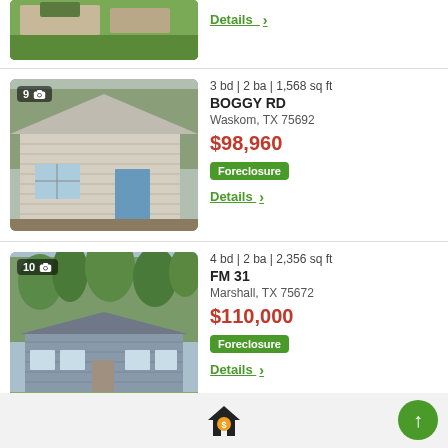[Figure (photo): Partial view of a house with green lawn, top of page]
Details >
[Figure (photo): Photo of a small white house with blue door, wooded background. Badge: 9 photos]
3 bd | 2 ba | 1,568 sq ft
BOGGY RD
Waskom, TX 75692
$98,960
Foreclosure
Details >
[Figure (photo): Photo of a blue/grey ranch house with lawn and trees. Badge: 10 photos]
4 bd | 2 ba | 2,356 sq ft
FM 31
Marshall, TX 75672
$110,000
Foreclosure
Details >
[Figure (infographic): Bottom navigation bar with home/dollar icon and green up-arrow button]